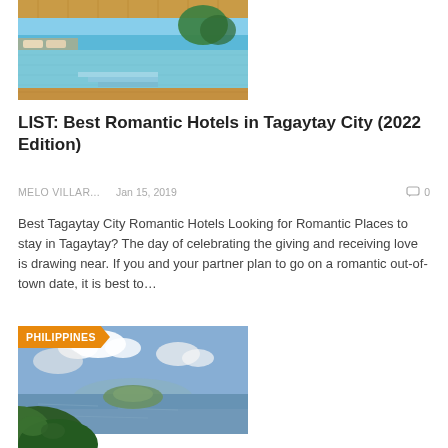[Figure (photo): Hotel infinity pool overlooking the ocean with lounge chairs and wooden deck, tropical setting]
LIST: Best Romantic Hotels in Tagaytay City (2022 Edition)
MELO VILLAR...   Jan 15, 2019   0
Best Tagaytay City Romantic Hotels Looking for Romantic Places to stay in Tagaytay? The day of celebrating the giving and receiving love is drawing near. If you and your partner plan to go on a romantic out-of-town date, it is best to…
[Figure (photo): Aerial/elevated landscape view of Taal Lake with volcanic island and lush green hills in the foreground, blue sky with white clouds, Philippines scenery]